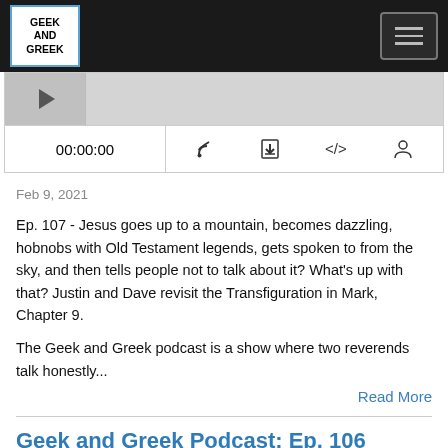Geek and Greek — navigation bar with logo and menu button
[Figure (screenshot): Podcast audio player showing timestamp 00:00:00 and control icons: RSS/subscribe, download, embed code, share]
Feb 9, 2021
Ep. 107 - Jesus goes up to a mountain, becomes dazzling, hobnobs with Old Testament legends, gets spoken to from the sky, and then tells people not to talk about it? What's up with that? Justin and Dave revisit the Transfiguration in Mark, Chapter 9.
The Geek and Greek podcast is a show where two reverends talk honestly...
Read More
Geek and Greek Podcast: Ep. 106
[Figure (screenshot): Bottom of page showing partial podcast player thumbnail with GEEK AND GREEK PODCAST label]